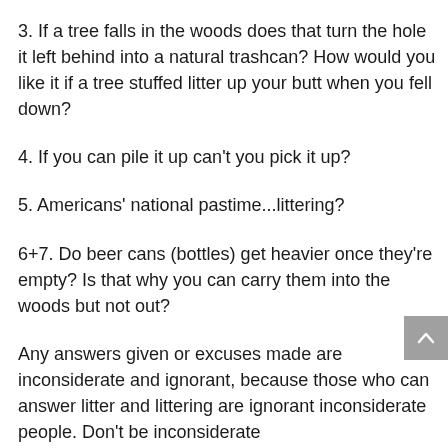3. If a tree falls in the woods does that turn the hole it left behind into a natural trashcan? How would you like it if a tree stuffed litter up your butt when you fell down?
4. If you can pile it up can't you pick it up?
5. Americans' national pastime...littering?
6+7. Do beer cans (bottles) get heavier once they're empty? Is that why you can carry them into the woods but not out?
Any answers given or excuses made are inconsiderate and ignorant, because those who can answer litter and littering are ignorant inconsiderate people. Don't be inconsiderate